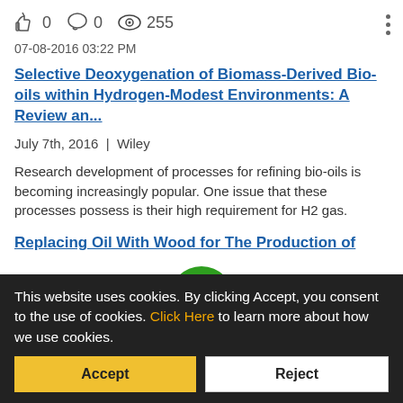0  0  255
07-08-2016 03:22 PM
Selective Deoxygenation of Biomass-Derived Bio-oils within Hydrogen-Modest Environments: A Review an...
July 7th, 2016 | Wiley
Research development of processes for refining bio-oils is becoming increasingly popular. One issue that these processes possess is their high requirement for H2 gas.
Replacing Oil With Wood for The Production of
[Figure (illustration): Green circular icon with white document/reading symbol]
This website uses cookies. By clicking Accept, you consent to the use of cookies. Click Here to learn more about how we use cookies.